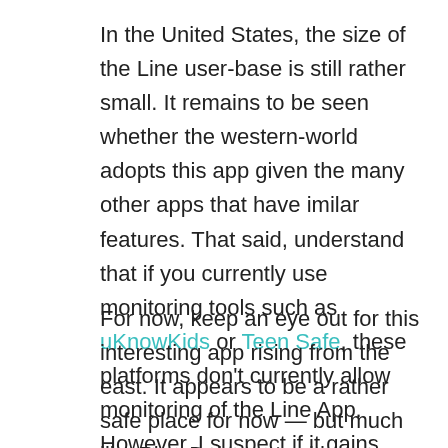In the United States, the size of the Line user-base is still rather small. It remains to be seen whether the western-world adopts this app given the many other apps that have imilar features. That said, understand that if you currently use monitoring tools such as uKnowKids or Teen Safe, these platforms don't currently allow monitoring of the Line App. However, I suspect if it gains traction it won't be long before Line is added to their portfolio of such capabilities.
For now, keep an eye out for this interesting app rising from the east. It appears to be a rather safe place for now — but much like Play-Doh — as with many things, kids have a way of finding other uses for these apps.